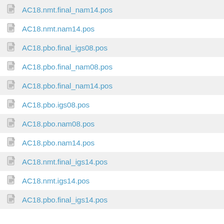AC18.nmt.final_nam14.pos
AC18.nmt.nam14.pos
AC18.pbo.final_igs08.pos
AC18.pbo.final_nam08.pos
AC18.pbo.final_nam14.pos
AC18.pbo.igs08.pos
AC18.pbo.nam08.pos
AC18.pbo.nam14.pos
AC18.nmt.final_igs14.pos
AC18.nmt.igs14.pos
AC18.pbo.final_igs14.pos